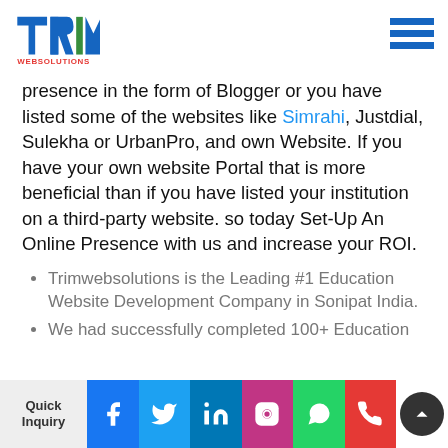[Figure (logo): TRIM Websolutions logo with colorful T, R, I, M letters and red WEBSOLUTIONS text]
presence in the form of Blogger or you have listed some of the websites like Simrahi, Justdial, Sulekha or UrbanPro, and own Website. If you have your own website Portal that is more beneficial than if you have listed your institution on a third-party website. so today Set-Up An Online Presence with us and increase your ROI.
Trimwebsolutions is the Leading #1 Education Website Development Company in Sonipat India.
We had successfully completed 100+ Education...